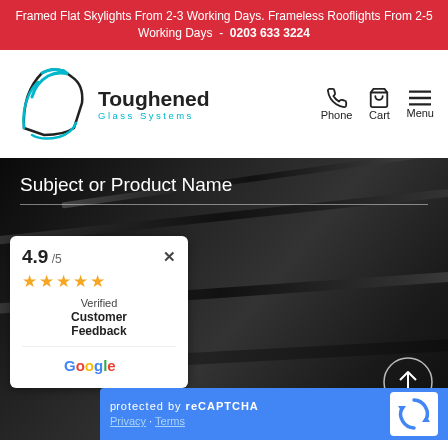Framed Flat Skylights From 2-3 Working Days. Frameless Rooflights From 2-5 Working Days - 0203 633 3224
[Figure (logo): Toughened Glass Systems logo with teal/cyan glass panel icon and company name]
Phone
Cart
Menu
Subject or Product Name
Message
[Figure (infographic): Customer ratings widget showing 4.9/5 with 5 gold stars, Verified Customer Feedback, Google logo]
[Figure (other): reCAPTCHA widget with Privacy and Terms links and reCAPTCHA logo]